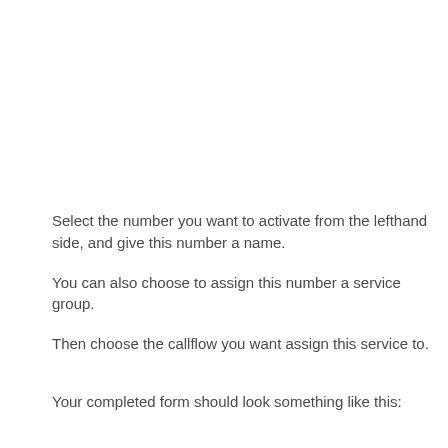Select the number you want to activate from the lefthand side, and give this number a name.
You can also choose to assign this number a service group.
Then choose the callflow you want assign this service to.
Your completed form should look something like this: